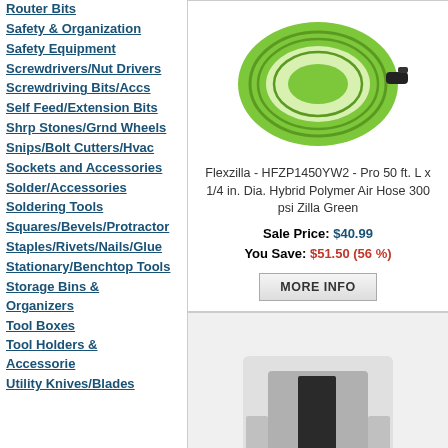Router Bits
Safety & Organization
Safety Equipment
Screwdrivers/Nut Drivers
Screwdriving Bits/Accs
Self Feed/Extension Bits
Shrp Stones/Grnd Wheels
Snips/Bolt Cutters/Hvac
Sockets and Accessories
Solder/Accessories
Soldering Tools
Squares/Bevels/Protractor
Staples/Rivets/Nails/Glue
Stationary/Benchtop Tools
Storage Bins & Organizers
Tool Boxes
Tool Holders & Accessorie
Utility Knives/Blades
[Figure (photo): Green coiled air hose - Flexzilla HFZP1450YW2]
Flexzilla - HFZP1450YW2 - Pro 50 ft. L x 1/4 in. Dia. Hybrid Polymer Air Hose 300 psi Zilla Green
Sale Price: $40.99
You Save: $51.50 (56 %)
[Figure (photo): Gray glazing channel piece - Prime-Line P7732]
Prime-Line - P7732 - Gray Glazing Channel - 1/Pack